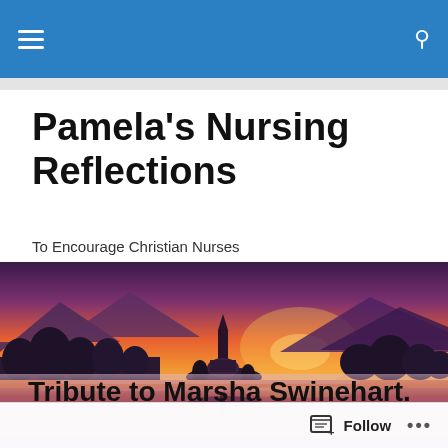Pamela's Nursing Reflections
Pamela's Nursing Reflections
To Encourage Christian Nurses
[Figure (photo): Scenic lake at sunrise/sunset with a small church on an island, mountains in background, misty water reflection, warm orange and purple tones]
Tribute to Marsha Swinehart. RN. Part 1